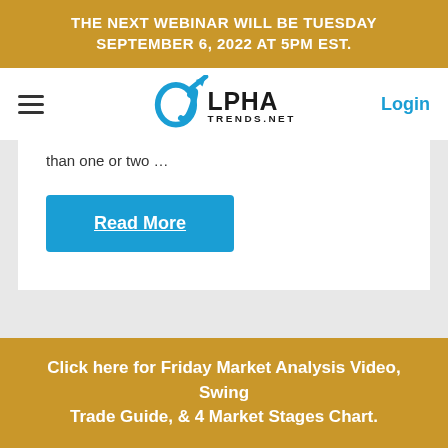THE NEXT WEBINAR WILL BE TUESDAY SEPTEMBER 6, 2022 at 5PM EST.
[Figure (logo): Alpha Trends .NET logo with blue arrow and stylized alpha symbol]
than one or two …
Read More
Click here for Friday Market Analysis Video, Swing Trade Guide, & 4 Market Stages Chart.